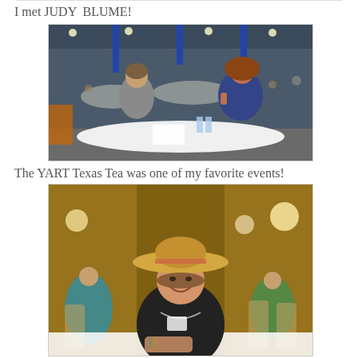I met JUDY  BLUME!
[Figure (photo): Two women at a book signing table in a large convention hall. An older woman on the left is signing a book while a younger woman on the right gives a thumbs up and smiles.]
The YART Texas Tea was one of my favorite events!
[Figure (photo): A smiling young woman wearing a straw cowboy hat and black shirt sits at a table in a banquet hall. Other attendees are visible in the background.]